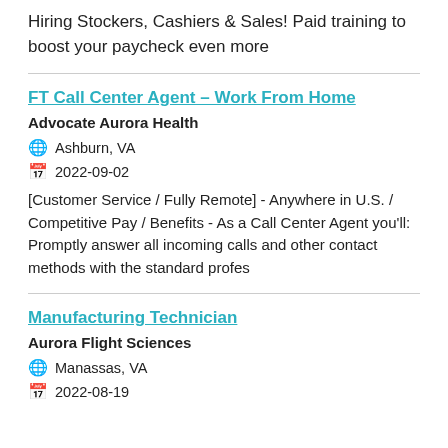Hiring Stockers, Cashiers & Sales! Paid training to boost your paycheck even more
FT Call Center Agent – Work From Home
Advocate Aurora Health
Ashburn, VA
2022-09-02
[Customer Service / Fully Remote] - Anywhere in U.S. / Competitive Pay / Benefits - As a Call Center Agent you'll: Promptly answer all incoming calls and other contact methods with the standard profes
Manufacturing Technician
Aurora Flight Sciences
Manassas, VA
2022-08-19